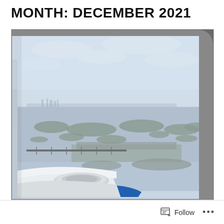MONTH: DECEMBER 2021
[Figure (photo): View from an airplane window showing the aircraft wing, a bay or coastal area with scattered small islands and a bridge visible below, hazy skyline in the distance, overcast sky.]
Follow ...